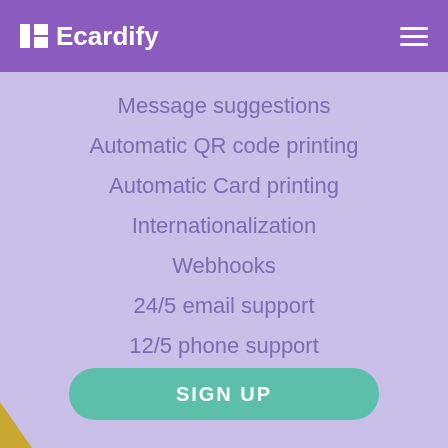!■Ecardify
Message suggestions
Automatic QR code printing
Automatic Card printing
Internationalization
Webhooks
24/5 email support
12/5 phone support
Access to Rest API
SIGN UP